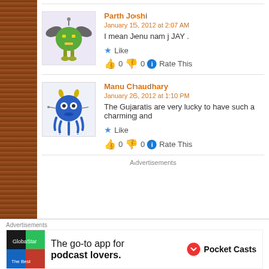[Figure (illustration): Green monster avatar with bat wings and yellow legs on light purple background]
Parth Joshi
January 15, 2012 at 2:07 AM
I mean Jenu nam j JAY .
★ Like
👍 0 👎 0 ℹ Rate This
[Figure (illustration): Blue octopus-like monster avatar with yellow horns on light background]
Manu Chaudhary
January 26, 2012 at 1:10 PM
The Gujaratis are very lucky to have such a charming and
★ Like
👍 0 👎 0 ℹ Rate This
Advertisements
Advertisements
The go-to app for podcast lovers. Pocket Casts